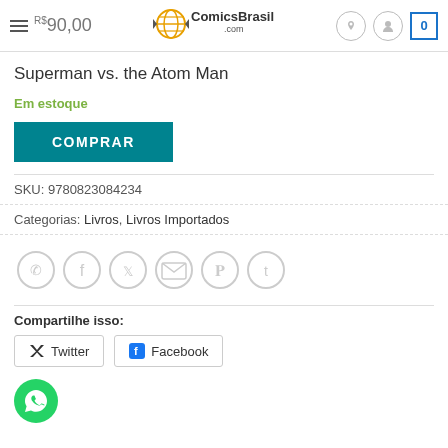R$90,00 | ComicsBrasil.com
Superman vs. the Atom Man
Em estoque
COMPRAR
SKU: 9780823084234
Categorias: Livros, Livros Importados
[Figure (other): Social sharing icon buttons: WhatsApp, Facebook, Twitter, Email, Pinterest, Tumblr]
Compartilhe isso:
Twitter | Facebook
[Figure (other): WhatsApp floating button (green circle with phone icon)]